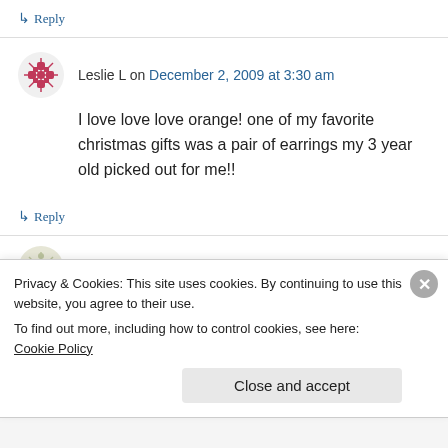↳ Reply
Leslie L on December 2, 2009 at 3:30 am
I love love love orange! one of my favorite christmas gifts was a pair of earrings my 3 year old picked out for me!!
↳ Reply
isabel f. on December 2, 2009 at 4:16 am
Privacy & Cookies: This site uses cookies. By continuing to use this website, you agree to their use.
To find out more, including how to control cookies, see here: Cookie Policy